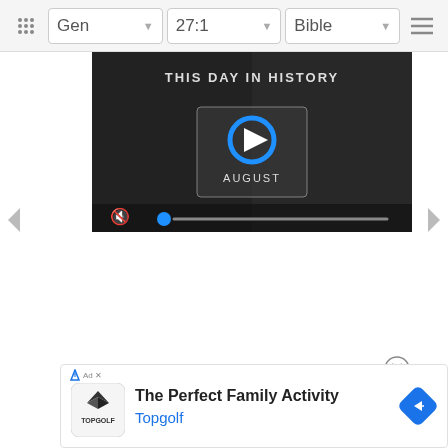Gen  27:1  Bible
[Figure (screenshot): Video player showing 'This Day In History' with play button overlay, blue circular logo, 'AUGUST' text, mute icon, and blue progress dot on seek bar]
[Figure (other): Left navigation arrow (grey triangle pointing left)]
[Figure (other): Right navigation arrow (grey triangle pointing right)]
[Figure (other): Close (X) circle button]
The Perfect Family Activity
Topgolf